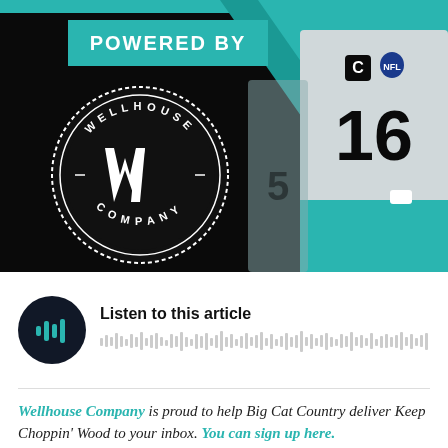[Figure (logo): Top banner with black background, teal diagonal stripe, 'POWERED BY' teal badge, Wellhouse Company circular logo in white on black, and a football player wearing jersey #16 (Jacksonville Jaguars) running on the right side.]
[Figure (other): Audio player widget with dark circular play button showing sound wave icon, 'Listen to this article' text, and a waveform/progress bar below.]
Wellhouse Company is proud to help Big Cat Country deliver Keep Choppin' Wood to your inbox. You can sign up here.